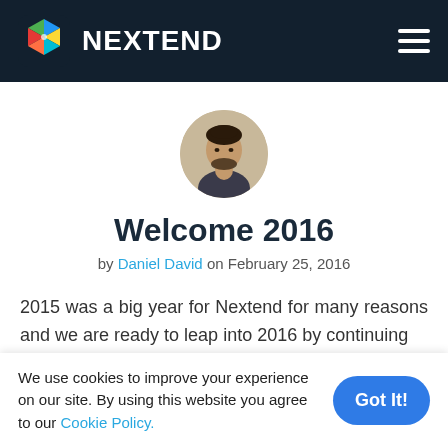NEXTEND
[Figure (photo): Circular avatar photo of a young man with dark hair and beard, wearing a dark shirt, against a beige/tan background.]
Welcome 2016
by Daniel David on February 25, 2016
2015 was a big year for Nextend for many reasons and we are ready to leap into 2016 by continuing
We use cookies to improve your experience on our site. By using this website you agree to our Cookie Policy.